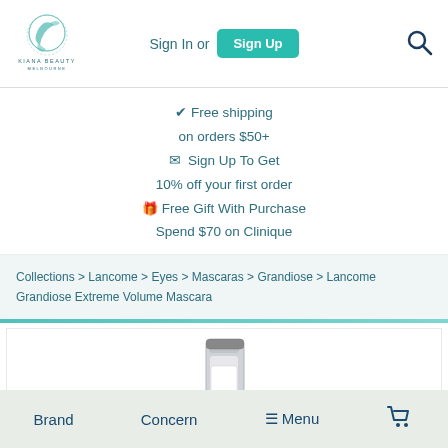[Figure (logo): Kiana Beauty Melbourne logo with stylized bird/flower illustration]
Sign In or Sign Up
✔ Free shipping on orders $50+
✉ Sign Up To Get 10% off your first order
🎁 Free Gift With Purchase Spend $70 on Clinique
Collections > Lancome > Eyes > Mascaras > Grandiose > Lancome Grandiose Extreme Volume Mascara
[Figure (photo): Lancome Grandiose Extreme Volume Mascara product image]
Brand  Concern  ≡ Menu  🛒